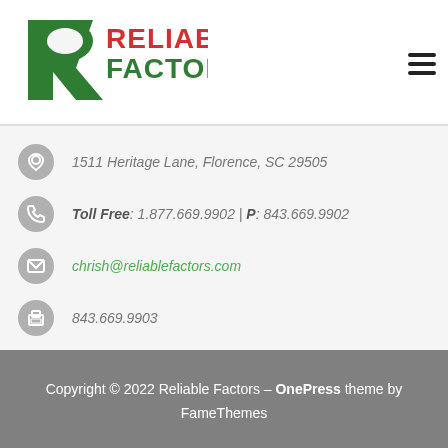[Figure (logo): Reliable Factors logo with stylized green R and red/green text]
1511 Heritage Lane, Florence, SC 29505
Toll Free: 1.877.669.9902 | P: 843.669.9902
chrish@reliablefactors.com
843.669.9903
Copyright © 2022 Reliable Factors – OnePress theme by FameThemes